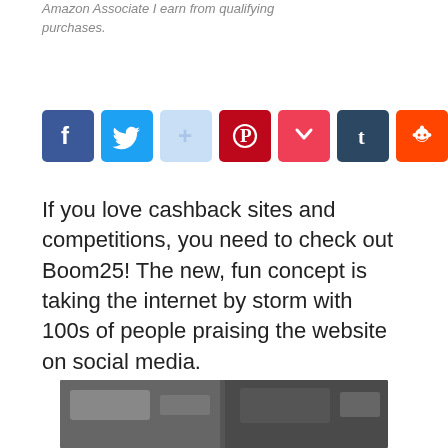Amazon Associate I earn from qualifying purchases.
[Figure (infographic): Social media share buttons row: Facebook, Twitter, Google+, Pinterest, Pocket, Tumblr, Reddit, Share (AddThis)]
If you love cashback sites and competitions, you need to check out Boom25!  The new, fun concept is taking the internet by storm with 100s of people praising the website on social media.
[Figure (photo): Blurred/obscured dark photograph, details indistinct]